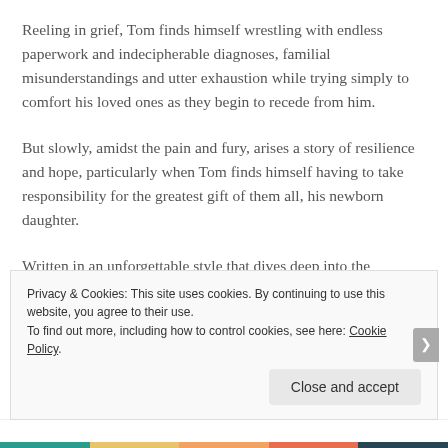Reeling in grief, Tom finds himself wrestling with endless paperwork and indecipherable diagnoses, familial misunderstandings and utter exhaustion while trying simply to comfort his loved ones as they begin to recede from him.
But slowly, amidst the pain and fury, arises a story of resilience and hope, particularly when Tom finds himself having to take responsibility for the greatest gift of them all, his newborn daughter.
Written in an unforgettable style that dives deep into the
Privacy & Cookies: This site uses cookies. By continuing to use this website, you agree to their use.
To find out more, including how to control cookies, see here: Cookie Policy